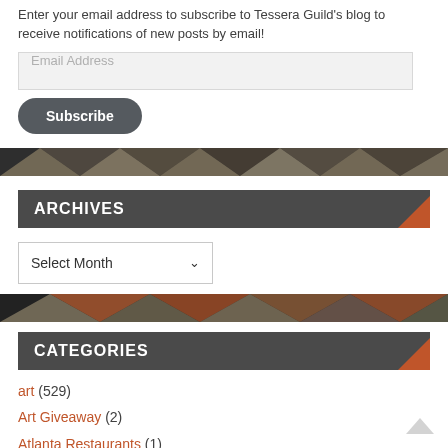Enter your email address to subscribe to Tessera Guild's blog to receive notifications of new posts by email!
[Figure (screenshot): Email address input field (light gray background, placeholder text 'Email Address')]
[Figure (screenshot): Subscribe button (dark gray rounded rectangle with white text 'Subscribe')]
[Figure (photo): Mosaic/textile art strip — dark background with beige and black geometric pattern]
ARCHIVES
[Figure (screenshot): Select Month dropdown control with chevron]
[Figure (photo): Mosaic/textile art strip — dark background with beige and orange geometric pattern]
CATEGORIES
art (529)
Art Giveaway (2)
Atlanta Restaurants (1)